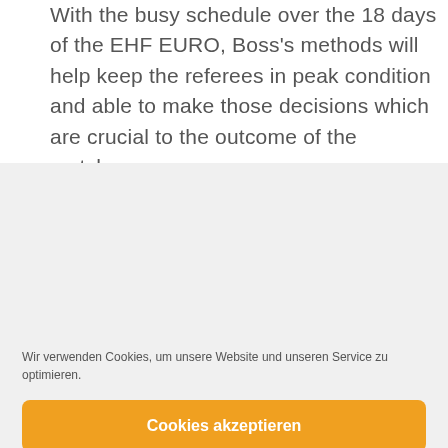With the busy schedule over the 18 days of the EHF EURO, Boss's methods will help keep the referees in peak condition and able to make those decisions which are crucial to the outcome of the matches.
Wir verwenden Cookies, um unsere Website und unseren Service zu optimieren.
Cookies akzeptieren
Ablehnen
Einstellungen anzeigen
Cookie-Richtlinie · Datenschutzerklärung · Impressum